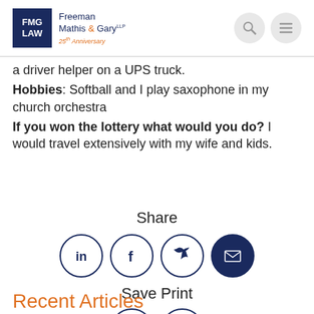[Figure (logo): FMG LAW - Freeman Mathis & Gary LLP 25th Anniversary logo]
a driver helper on a UPS truck.
Hobbies:  Softball and I play saxophone in my church orchestra
If you won the lottery what would you do?  I would travel extensively with my wife and kids.
Share
[Figure (infographic): Social share icons: LinkedIn, Facebook, Twitter, Email]
Save Print
[Figure (infographic): Save (PDF) and Print icons]
Recent Articles